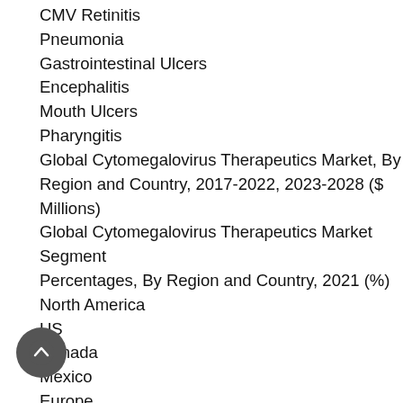CMV Retinitis
Pneumonia
Gastrointestinal Ulcers
Encephalitis
Mouth Ulcers
Pharyngitis
Global Cytomegalovirus Therapeutics Market, By Region and Country, 2017-2022, 2023-2028 ($ Millions)
Global Cytomegalovirus Therapeutics Market Segment Percentages, By Region and Country, 2021 (%)
North America
US
Canada
Mexico
Europe
Germany
France
U.K.
Italy